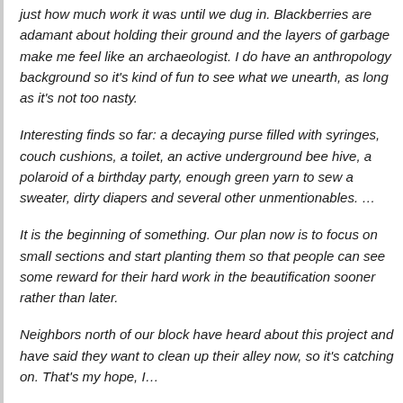just how much work it was until we dug in. Blackberries are adamant about holding their ground and the layers of garbage make me feel like an archaeologist. I do have an anthropology background so it's kind of fun to see what we unearth, as long as it's not too nasty.
Interesting finds so far: a decaying purse filled with syringes, couch cushions, a toilet, an active underground bee hive, a polaroid of a birthday party, enough green yarn to sew a sweater, dirty diapers and several other unmentionables. …
It is the beginning of something. Our plan now is to focus on small sections and start planting them so that people can see some reward for their hard work in the beautification sooner rather than later.
Neighbors north of our block have heard about this project and have said they want to clean up their alley now, so it's catching on. That's my hope, I…